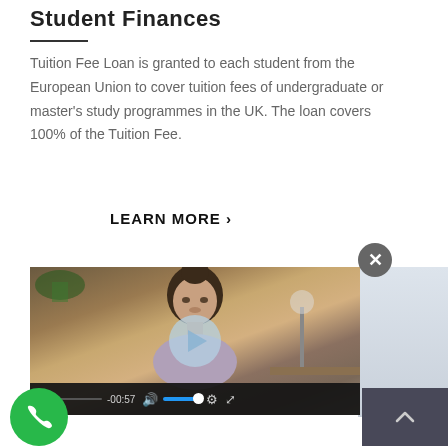Student Finances
Tuition Fee Loan is granted to each student from the European Union to cover tuition fees of undergraduate or master's study programmes in the UK. The loan covers 100% of the Tuition Fee.
LEARN MORE >
[Figure (screenshot): Video player overlay showing a young woman sitting, with play button, controls bar showing -00:57 timestamp, volume, settings and fullscreen icons. Close button (X) in top right. Green phone button and dark up-arrow button at bottom.]